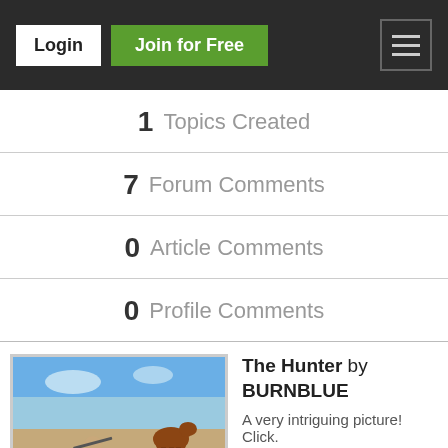Login | Join for Free
1 Topics Created
7 Forum Comments
0 Article Comments
0 Profile Comments
[Figure (photo): A hunter sitting in a field with a dog and a horse in the background under a blue sky]
The Hunter by BURNBLUE
A very intriguing picture! Click.
Bill
19 Nov 2015 1:33AM